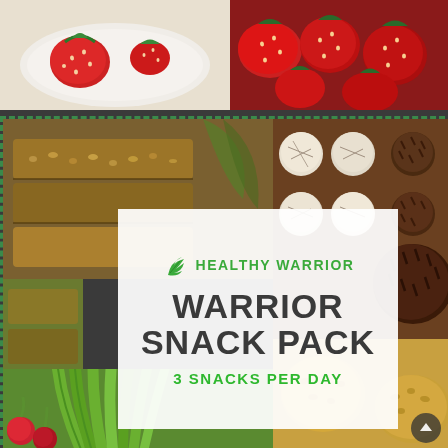[Figure (photo): Collage of healthy food photos: strawberries on white plate (top left), cluster of red strawberries (top right), granola/nut bars (middle left), chocolate truffles and chocolate sprinkle balls (top right grid), celery sticks and radishes (bottom left grid), golden muffins/biscuits (bottom right grid)]
[Figure (logo): Healthy Warrior green leaf logo with brand name]
WARRIOR SNACK PACK
3 SNACKS PER DAY